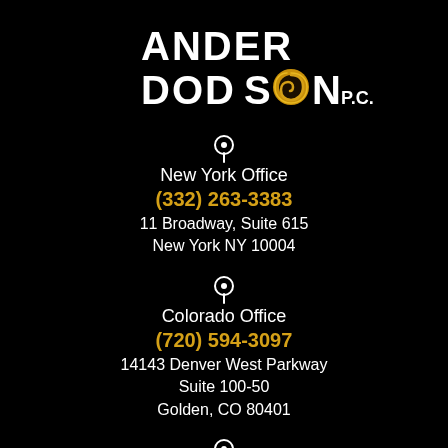[Figure (logo): Anderson Dodson P.C. law firm logo — white bold text 'ANDER DOD SON P.C.' with a golden swirl/eye design replacing the O in SON]
New York Office
(332) 263-3383
11 Broadway, Suite 615
New York NY 10004
Colorado Office
(720) 594-3097
14143 Denver West Parkway
Suite 100-50
Golden, CO 80401
Georgia Office/Mailing Address
196 Alps Road, Suite 2-255
Athens, GA 30606